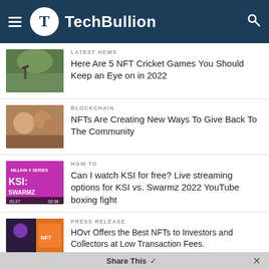TechBullion
LATEST NEWS
Here Are 5 NFT Cricket Games You Should Keep an Eye on in 2022
BLOCKCHAIN
NFTs Are Creating New Ways To Give Back To The Community
HOW TO
Can I watch KSI for free? Live streaming options for KSI vs. Swarmz 2022 YouTube boxing fight
PRESS RELEASE
HOvr Offers the Best NFTs to Investors and Collectors at Low Transaction Fees.
Share This